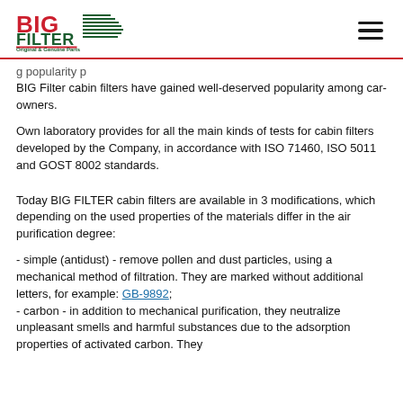BIG FILTER Original & Genuine Parts
g... BIG Filter cabin filters have gained well-deserved popularity among car-owners.
Own laboratory provides for all the main kinds of tests for cabin filters developed by the Company, in accordance with ISO 71460, ISO 5011 and GOST 8002 standards.
Today BIG FILTER cabin filters are available in 3 modifications, which depending on the used properties of the materials differ in the air purification degree:
- simple (antidust) - remove pollen and dust particles, using a mechanical method of filtration. They are marked without additional letters, for example: GB-9892;
- carbon - in addition to mechanical purification, they neutralize unpleasant smells and harmful substances due to the adsorption properties of activated carbon. They...